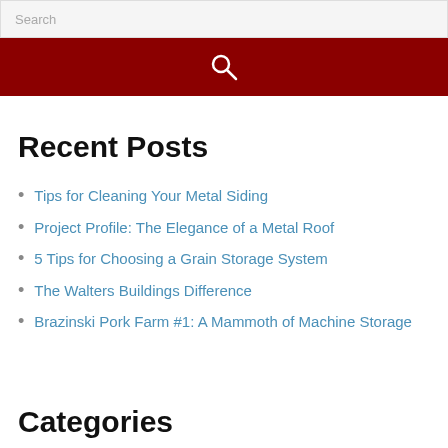Search
[Figure (other): Dark red search button with white magnifying glass icon]
Recent Posts
Tips for Cleaning Your Metal Siding
Project Profile: The Elegance of a Metal Roof
5 Tips for Choosing a Grain Storage System
The Walters Buildings Difference
Brazinski Pork Farm #1: A Mammoth of Machine Storage
Categories